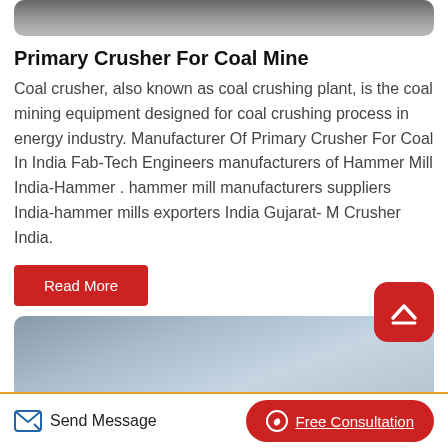[Figure (photo): Top cropped photo showing industrial machinery, partially visible at top of page]
Primary Crusher For Coal Mine
Coal crusher, also known as coal crushing plant, is the coal mining equipment designed for coal crushing process in energy industry. Manufacturer Of Primary Crusher For Coal In India Fab-Tech Engineers manufacturers of Hammer Mill India-Hammer . hammer mill manufacturers suppliers India-hammer mills exporters India Gujarat- M Crusher India.
[Figure (photo): Bottom photo showing industrial building exterior with blue/grey tones]
Send Message   Free Consultation